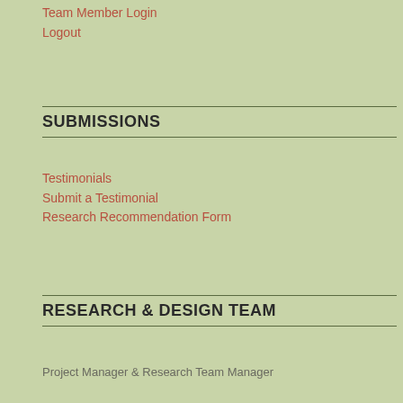Team Member Login
Logout
SUBMISSIONS
Testimonials
Submit a Testimonial
Research Recommendation Form
RESEARCH & DESIGN TEAM
Project Manager & Research Team Manager